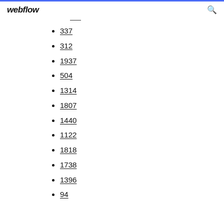webflow
337
312
1937
504
1314
1807
1440
1122
1818
1738
1396
94